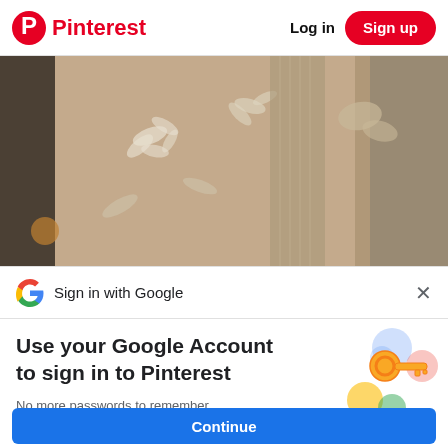Pinterest | Log in | Sign up
[Figure (photo): Close-up photo of floral fabric robe/garment in beige/tan tones with white floral embroidery pattern, hanging cloth visible]
Sign in with Google ×
Use your Google Account to sign in to Pinterest
No more passwords to remember. Signing in is fast, simple and secure.
[Figure (illustration): Google sign-in illustration with a golden key and colorful circles in blue, yellow, green, and red/pink]
Continue